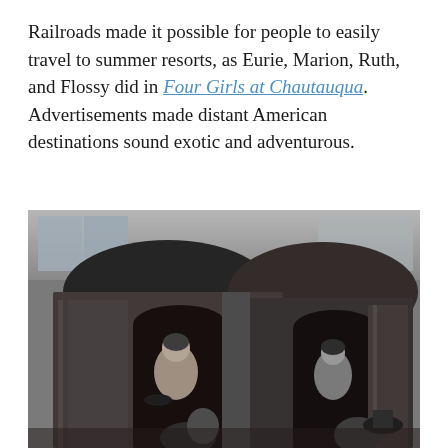Railroads made it possible for people to easily travel to summer resorts, as Eurie, Marion, Ruth, and Flossy did in Four Girls at Chautauqua. Advertisements made distant American destinations sound exotic and adventurous.
[Figure (photo): Black and white historical photograph showing passengers boarding or alighting from a train. Two arched doorways of a railroad car are visible, with several people in early 20th century clothing standing at the entrances. A woman in a light coat is visible in the left doorway and passengers are visible in the right doorway as well.]